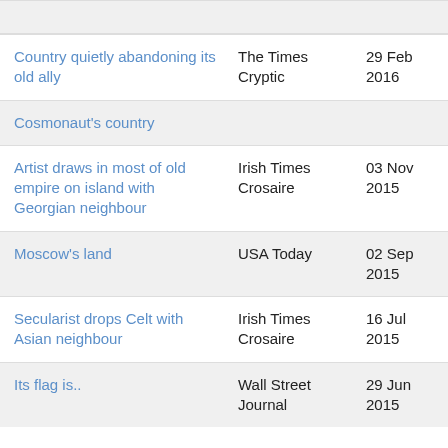| Clue | Source | Date |
| --- | --- | --- |
| Country quietly abandoning its old ally | The Times Cryptic | 29 Feb 2016 |
| Cosmonaut's country |  |  |
| Artist draws in most of old empire on island with Georgian neighbour | Irish Times Crosaire | 03 Nov 2015 |
| Moscow's land | USA Today | 02 Sep 2015 |
| Secularist drops Celt with Asian neighbour | Irish Times Crosaire | 16 Jul 2015 |
| Its flag is.. | Wall Street Journal | 29 Jun 2015 |